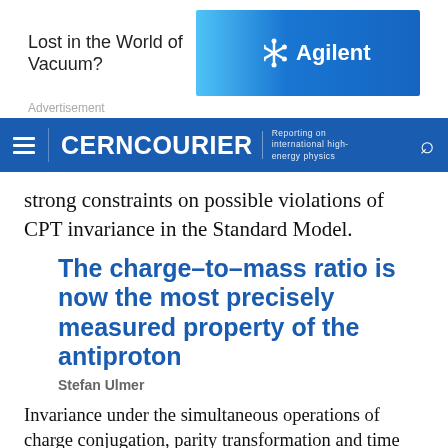[Figure (screenshot): Advertisement banner: 'Lost in the World of Vacuum?' with Agilent logo on blue background]
Advertisement
CERNCOURIER — Reporting on international high-energy physics
strong constraints on possible violations of CPT invariance in the Standard Model.
The charge–to–mass ratio is now the most precisely measured property of the antiproton
Stefan Ulmer
Invariance under the simultaneous operations of charge conjugation, parity transformation and time reversal is